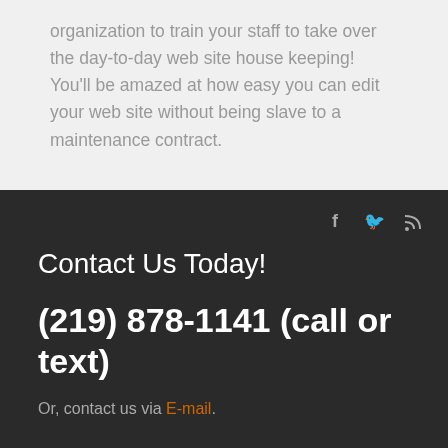organization to train your staff to take over the day-to-day web site house keeping! You'll be amazed at how easy you can edit your web site without being slave to a maintenance contract.
Contact Us Today!
(219) 878-1141 (call or text)
Or, contact us via E-mail.